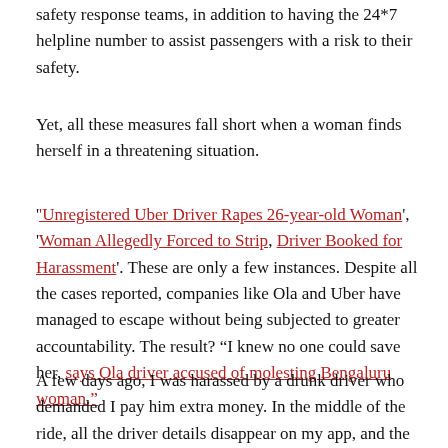safety response teams, in addition to having the 24*7 helpline number to assist passengers with a risk to their safety.
Yet, all these measures fall short when a woman finds herself in a threatening situation.
'Unregistered Uber Driver Rapes 26-year-old Woman', 'Woman Allegedly Forced to Strip, Driver Booked for Harassment'. These are only a few instances. Despite all the cases reported, companies like Ola and Uber have managed to escape without being subjected to greater accountability. The result? "I knew no one could save her, says Ola driver accused of molesting Bengaluru woman."
A few days ago, I was harassed by a drunk driver who demanded I pay him extra money. In the middle of the ride, all the driver details disappear on my app, and the tracking link stopped